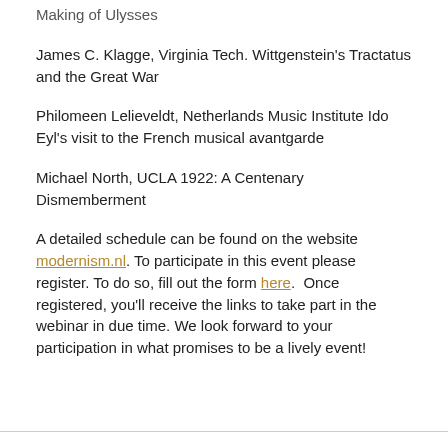Making of Ulysses
James C. Klagge, Virginia Tech. Wittgenstein's Tractatus and the Great War
Philomeen Lelieveldt, Netherlands Music Institute Ido Eyl's visit to the French musical avantgarde
Michael North, UCLA 1922: A Centenary Dismemberment
A detailed schedule can be found on the website modernism.nl. To participate in this event please register. To do so, fill out the form here.  Once registered, you'll receive the links to take part in the webinar in due time. We look forward to your participation in what promises to be a lively event!